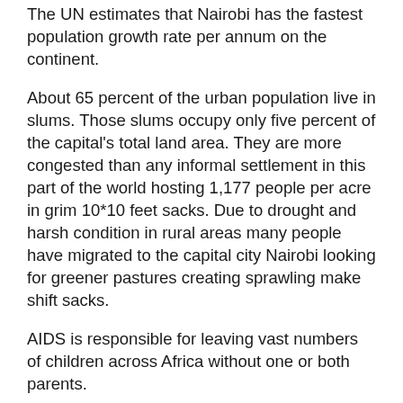The UN estimates that Nairobi has the fastest population growth rate per annum on the continent.
About 65 percent of the urban population live in slums. Those slums occupy only five percent of the capital's total land area. They are more congested than any informal settlement in this part of the world hosting 1,177 people per acre in grim 10*10 feet sacks. Due to drought and harsh condition in rural areas many people have migrated to the capital city Nairobi looking for greener pastures creating sprawling make shift sacks.
AIDS is responsible for leaving vast numbers of children across Africa without one or both parents.
HIV/AIDS spreads rapidly among low-income earners living in the sprawling slums of Nairobi due to prostitution, illiteracy, and poverty. Many children drop out of school from single mothers and ailing parents as a result of AIDS. Surveys suggest that overall, about 15% of orphans are 0-4 years old, 35% are 5-9 years old, and 50% are 10-14 years old. When a parent dies, those orphaned children between